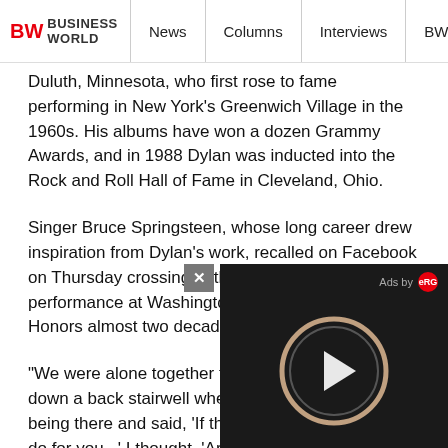BW BUSINESSWORLD | News | Columns | Interviews | BW
Duluth, Minnesota, who first rose to fame performing in New York's Greenwich Village in the 1960s. His albums have won a dozen Grammy Awards, and in 1988 Dylan was inducted into the Rock and Roll Hall of Fame in Cleveland, Ohio.
Singer Bruce Springsteen, whose long career drew inspiration from Dylan's work, recalled on Facebook on Thursday crossing paths with his idol at a performance at Washington's Kennedy Center Honors almost two decades ago.
"We were alone together for a brief moment walking down a back stairwell when he thanked me for being there and said, 'If there's anything I can ever do for you...' I thought, 'Are you kidding me?' and answered, 'It's already been done,'" Springsteen wrote.
Dylan remained silent on Thursday, making no statement ahead of a Thursday evening concert in L... spokesman declined to comment.
For many, his lyrics have resonated for de...
[Figure (screenshot): Video ad overlay with dark background showing a play button (circular arrow icon), 'Ads by' label with red logo, and an X close button]